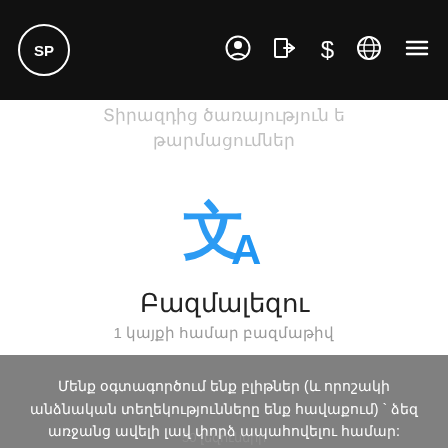SP [navigation icons]
Տիրազդից ծառայություն ե թարմացումներ
[Figure (illustration): Blue translation/multilingual icon (two overlapping letter A characters in blue, resembling the Google Translate icon)]
Բազմալեզու
1 կայքի համար բազմաթիվ
Մենք օգտագործում ենք բլիթներ (և որոշակի անձնական տեղեկությունները ենք հավաքում) ` ձեզ առջանց ավելի լավ փորձ ապահովելու համար: Այցելով մեր կայք ` դուք ընդունում եք [ա] մեր պայմաններ :
Հասկացա
50 լեզուների